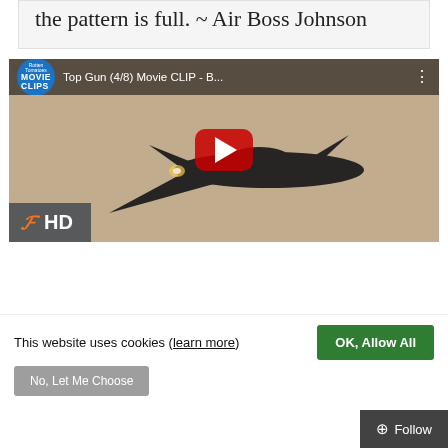the pattern is full. ~ Air Boss Johnson
[Figure (screenshot): YouTube video embed: Top Gun (4/8) Movie CLIP - B... with a jet silhouette thumbnail, Rotten Tomatoes Movie Clips logo, red YouTube play button, and Fandango HD badge]
This website uses cookies (learn more)
OK, Allow All
No, Let Me Choose
+ Follow